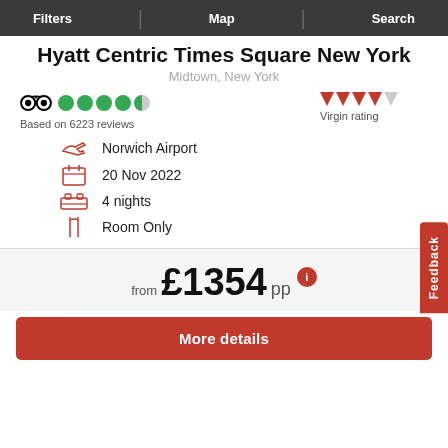Filters | Map | Search
Hyatt Centric Times Square New York
Midtown, New York
Based on 6223 reviews
Virgin rating
Norwich Airport
20 Nov 2022
4 nights
Room Only
from £1354pp
More details